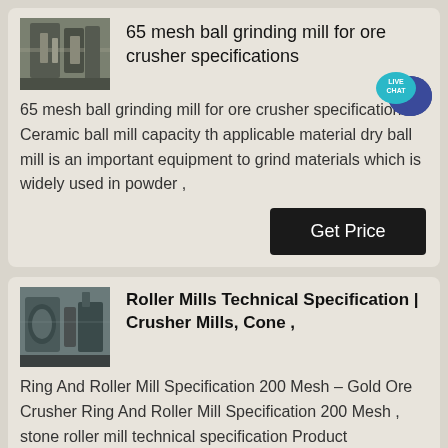[Figure (photo): Industrial ball grinding mill equipment photo]
65 mesh ball grinding mill for ore crusher specifications
65 mesh ball grinding mill for ore crusher specifications Ceramic ball mill capacity th applicable material dry ball mill is an important equipment to grind materials which is widely used in powder ,
[Figure (photo): Industrial roller mill / crusher equipment photo]
Roller Mills Technical Specification | Crusher Mills, Cone ,
Ring And Roller Mill Specification 200 Mesh – Gold Ore Crusher Ring And Roller Mill Specification 200 Mesh , stone roller mill technical specification Product Specification: Roller stone Mill,